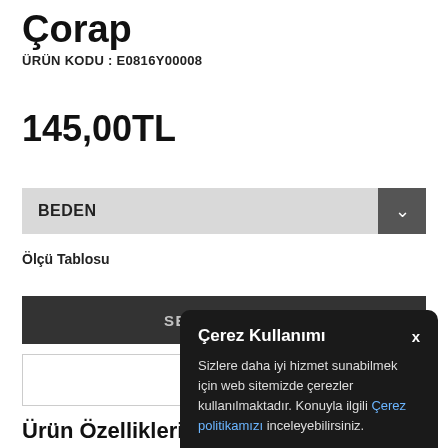Çorap
ÜRÜN KODU : E0816Y00008
145,00TL
BEDEN
Ölçü Tablosu
SEPETE EKLE
[Figure (screenshot): Cookie consent modal dialog with title 'Çerez Kullanımı' and body text about cookies, with a close X button and a link 'Çerez politikamızı']
Ürün Özellikleri